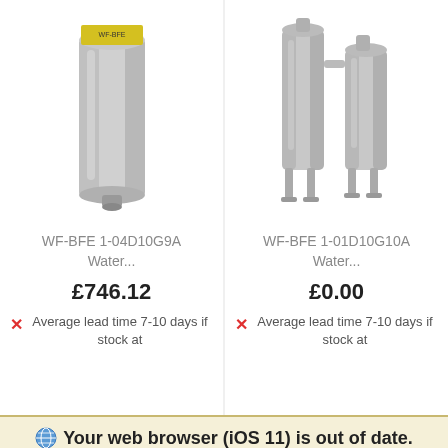[Figure (photo): Product photo of WF-BFE 1-04D10G9A water filter - a cylindrical silver/grey metal filter canister with yellow label on top, on white background]
WF-BFE 1-04D10G9A Water...
£746.12
Average lead time 7-10 days if stock at
[Figure (photo): Product photo of WF-BFE 1-01D10G10A water filter - a stainless steel multi-bag filter housing unit with legs, on white background]
WF-BFE 1-01D10G10A Water...
£0.00
Average lead time 7-10 days if stock at
Your web browser (iOS 11) is out of date. Update your browser for more security, speed and the best experience on this site.